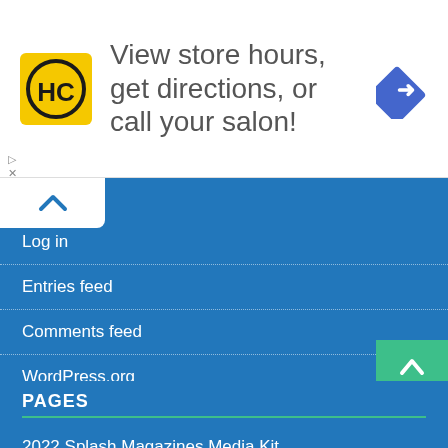[Figure (illustration): HC (Hair Club) logo — yellow square with black HC letters in a circle, beside text 'View store hours, get directions, or call your salon!' and a blue diamond arrow navigation icon on the right.]
Log in
Entries feed
Comments feed
WordPress.org
PAGES
2022 Splash Magazines Media Kit
About Us
Calendar
Home
[Figure (infographic): Social media share bar with icons: Facebook (f), Twitter bird, Reddit alien, LinkedIn (in), Pinterest (P), MeWe (mW), Mix (m), WhatsApp, and share icon.]